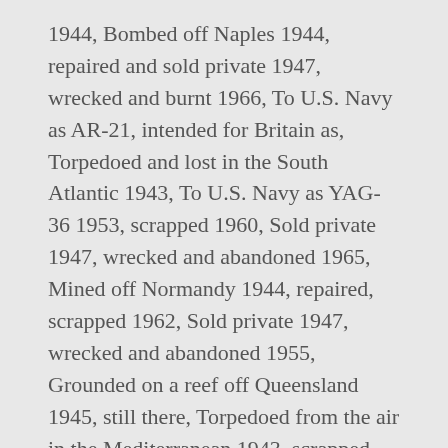1944, Bombed off Naples 1944, repaired and sold private 1947, wrecked and burnt 1966, To U.S. Navy as AR-21, intended for Britain as, Torpedoed and lost in the South Atlantic 1943, To U.S. Navy as YAG-36 1953, scrapped 1960, Sold private 1947, wrecked and abandoned 1965, Mined off Normandy 1944, repaired, scrapped 1962, Sold private 1947, wrecked and abandoned 1955, Grounded on a reef off Queensland 1945, still there, Torpedoed from the air in the Mediterranean 1943, scrapped 1949, Wrecked 1960, declared total loss, scrapped 1968, Sold private 1947, wrecked and scrapped 1959, Sold private 1947, wrecked and scrapped 1960, Wrecked in the Hebrides 1943, declared total loss, scrapped, To U.S. Navy